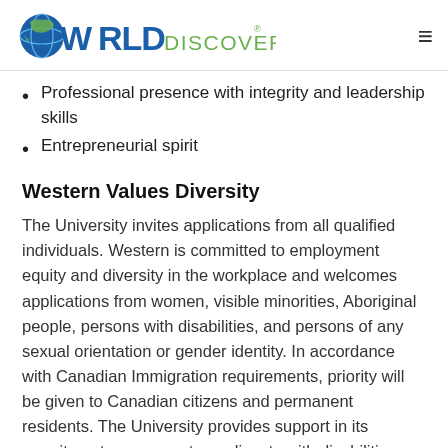WORLDDISCOVERIES
Professional presence with integrity and leadership skills
Entrepreneurial spirit
Western Values Diversity
The University invites applications from all qualified individuals. Western is committed to employment equity and diversity in the workplace and welcomes applications from women, visible minorities, Aboriginal people, persons with disabilities, and persons of any sexual orientation or gender identity. In accordance with Canadian Immigration requirements, priority will be given to Canadian citizens and permanent residents. The University provides support in its recruitment processes to applicants with disabilities, including accommodation that takes into account an